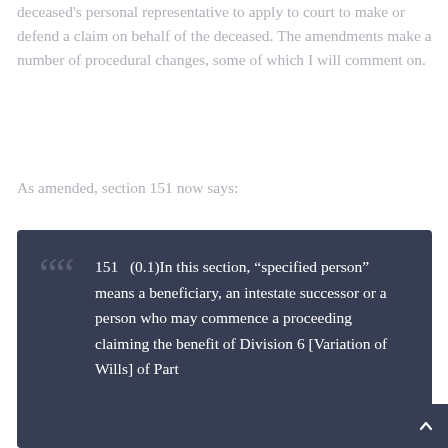deceased's personal representative to apply to court to make or defend a claim on behalf of the deceased. The amendments make a number of procedural changes, some of which I will comment on.
As amended, section 151 now says:
151   (0.1)In this section, “specified person” means a beneficiary, an intestate successor or a person who may commence a proceeding claiming the benefit of Division 6 [Variation of Wills] of Part